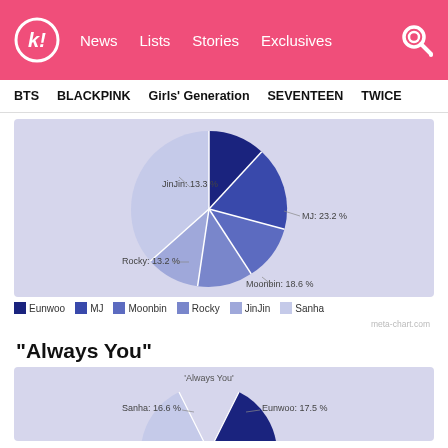k! News Lists Stories Exclusives
BTS   BLACKPINK   Girls' Generation   SEVENTEEN   TWICE
[Figure (pie-chart): ]
Eunwoo   MJ   Moonbin   Rocky   JinJin   Sanha
meta-chart.com
“Always You”
[Figure (pie-chart): 'Always You']